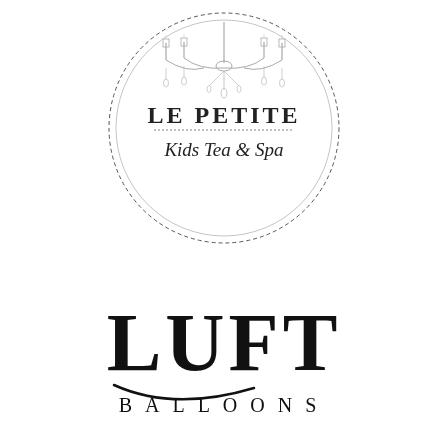[Figure (logo): Le Petite Kids Tea & Spa logo inside a dashed circle with chandelier illustration, text 'LE PETITE' in serif capitals and 'Kids Tea & Spa' in script]
[Figure (logo): LUFT BALLOONS logo with large bold serif capitals and a decorative swoosh underline beneath LUFT]